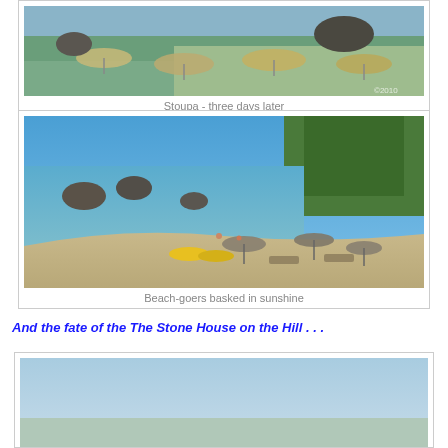[Figure (photo): Aerial view of Stoupa beach with umbrellas and sea]
Stoupa - three days later
[Figure (photo): Beach scene with people, umbrellas, blue sea and green trees]
Beach-goers basked in sunshine
And the fate of the The Stone House on the Hill . . .
[Figure (photo): Partial view of another photo at bottom of page]